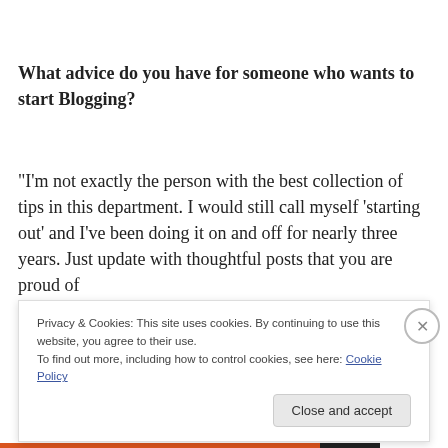What advice do you have for someone who wants to start Blogging?
“I’m not exactly the person with the best collection of tips in this department. I would still call myself ‘starting out’ and I’ve been doing it on and off for nearly three years. Just update with thoughtful posts that you are proud of
Privacy & Cookies: This site uses cookies. By continuing to use this website, you agree to their use.
To find out more, including how to control cookies, see here: Cookie Policy